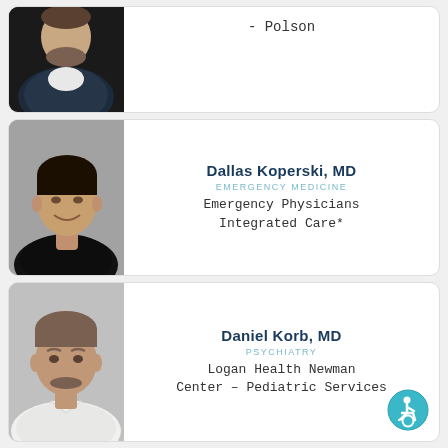[Figure (photo): Partial view of a man in dark jacket with beard, cut off at top]
- Polson
[Figure (photo): Dallas Koperski MD headshot - man with dark hair, black shirt, smiling]
Dallas Koperski, MD
EMERGENCY MEDICINE
Emergency Physicians Integrated Care*
[Figure (photo): Daniel Korb MD headshot - middle-aged man with mustache, white shirt]
Daniel Korb, MD
PSYCHIATRY
Logan Health Newman Center – Pediatric Services
[Figure (illustration): Wheelchair accessibility icon in teal circle]